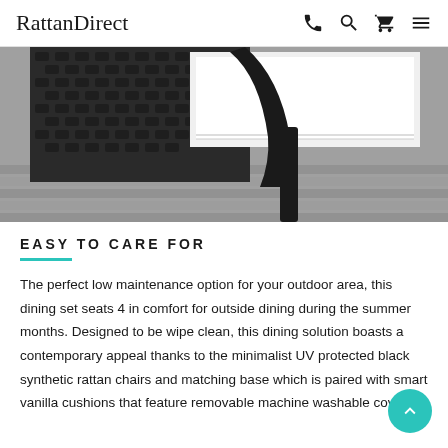RattanDirect
[Figure (photo): Close-up photo of black synthetic rattan weave furniture with white cushion on a wooden deck surface]
EASY TO CARE FOR
The perfect low maintenance option for your outdoor area, this dining set seats 4 in comfort for outside dining during the summer months. Designed to be wipe clean, this dining solution boasts a contemporary appeal thanks to the minimalist UV protected black synthetic rattan chairs and matching base which is paired with smart vanilla cushions that feature removable machine washable covers.